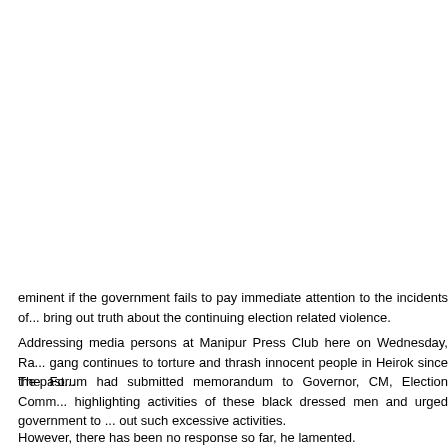RIMS hospital.
Noting that unwanted incidents have been occurring between supporters of candidates, the Commission took it seriously and directed the persons involved.
BJP Heirok Mana... thrashing and fi... connection with e...
Meanwhile, Se... Moirangthem Ra... eminent if the government fails to pay immediate attention to the incidents of... bring out truth about the continuing election related violence.
Addressing media persons at Manipur Press Club here on Wednesday, Ra... gang continues to torture and thrash innocent people in Heirok since the past...
The Forum had submitted memorandum to Governor, CM, Election Comm... highlighting activities of these black dressed men and urged government to ... out such excessive activities.
However, there has been no response so far, he lamented.
In the continuing excessive acts by the black dressed men, an unwanted incid...
Apart from killing one person and injuring some others in the incident, seve... damaged.